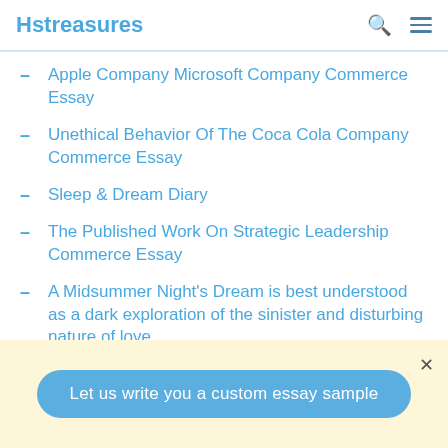Hstreasures
Apple Company Microsoft Company Commerce Essay
Unethical Behavior Of The Coca Cola Company Commerce Essay
Sleep & Dream Diary
The Published Work On Strategic Leadership Commerce Essay
A Midsummer Night's Dream is best understood as a dark exploration of the sinister and disturbing nature of love.
Let us write you a custom essay sample